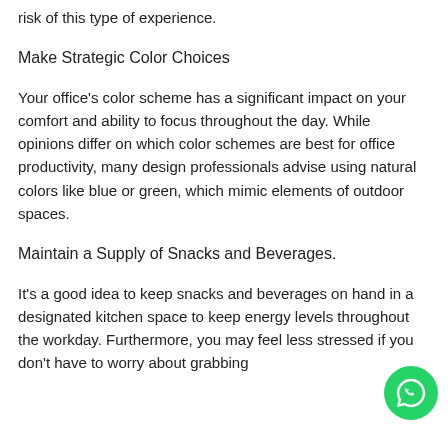risk of this type of experience.
Make Strategic Color Choices
Your office's color scheme has a significant impact on your comfort and ability to focus throughout the day. While opinions differ on which color schemes are best for office productivity, many design professionals advise using natural colors like blue or green, which mimic elements of outdoor spaces.
Maintain a Supply of Snacks and Beverages.
It's a good idea to keep snacks and beverages on hand in a designated kitchen space to keep energy levels throughout the workday. Furthermore, you may feel less stressed if you don't have to worry about grabbing